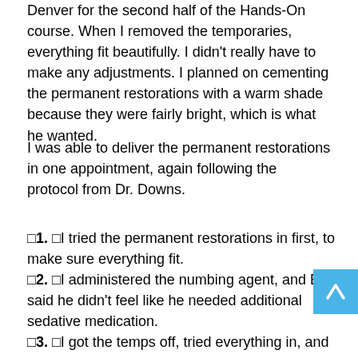Denver for the second half of the Hands-On course. When I removed the temporaries, everything fit beautifully. I didn't really have to make any adjustments. I planned on cementing the permanent restorations with a warm shade because they were fairly bright, which is what he wanted.
I was able to deliver the permanent restorations in one appointment, again following the protocol from Dr. Downs.
1.  I tried the permanent restorations in first, to make sure everything fit.
2.  I administered the numbing agent, and Beau said he didn't feel like he needed additional sedative medication.
3.  I got the temps off, tried everything in, and then cemented it all with a couple of light adjustments afterwards.
4.  On his anterior six, we placed Elite Empress crowns. The premolars were Elite E.max crowns, and the molars were zirconia.
5.  He didn't have any trouble with bleeding until we cured